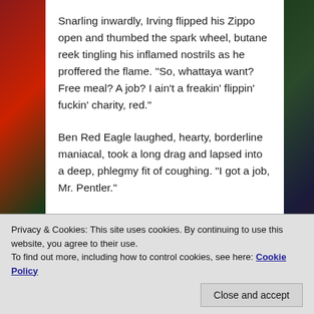Snarling inwardly, Irving flipped his Zippo open and thumbed the spark wheel, butane reek tingling his inflamed nostrils as he proffered the flame. “So, whattaya want? Free meal? A job? I ain’t a freakin’ flippin’ fuckin’ charity, red.”
Ben Red Eagle laughed, hearty, borderline maniacal, took a long drag and lapsed into a deep, phlegmy fit of coughing. “I got a job, Mr. Pentler.”
“Yeah, uh-huh, lemme guess, delivering meat, right?” Irving snorted derisively, jerking a thumb at the battered wagon just outside the window.
Privacy & Cookies: This site uses cookies. By continuing to use this website, you agree to their use.
To find out more, including how to control cookies, see here: Cookie Policy
spread, then exhaling a series of smaller ones, each